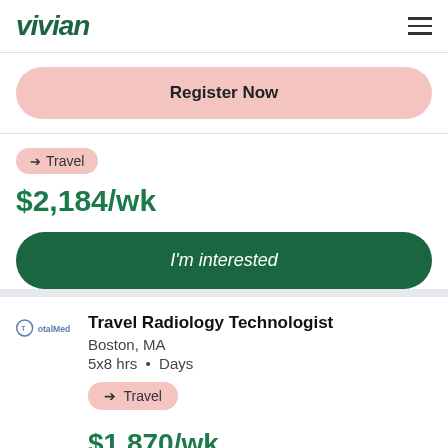vivian
Register Now
➔ Travel
$2,184/wk
I'm interested
Travel Radiology Technologist
Boston, MA
5x8 hrs • Days
➔ Travel
$1,870/wk